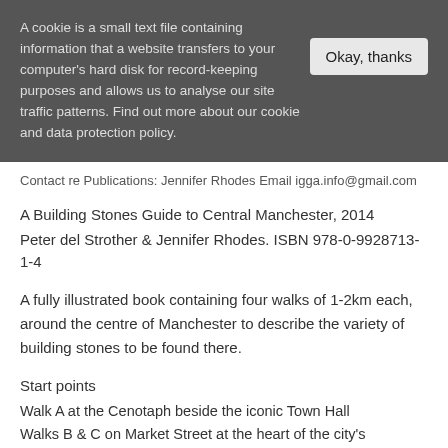A cookie is a small text file containing information that a website transfers to your computer's hard disk for record-keeping purposes and allows us to analyse our site traffic patterns. Find out more about our cookie and data protection policy.
Okay, thanks
Contact re Publications: Jennifer Rhodes Email igga.info@gmail.com
A Building Stones Guide to Central Manchester, 2014
Peter del Strother & Jennifer Rhodes. ISBN 978-0-9928713-1-4
A fully illustrated book containing four walks of 1-2km each, around the centre of Manchester to describe the variety of building stones to be found there.
Start points
Walk A at the Cenotaph beside the iconic Town Hall
Walks B & C on Market Street at the heart of the city's shopping area
Walk D begins at the Town Hall Extension on Mount Street.
Cost £6.00 + £2.50 p&p from J Rhodes www.mangeolassoc.org.uk